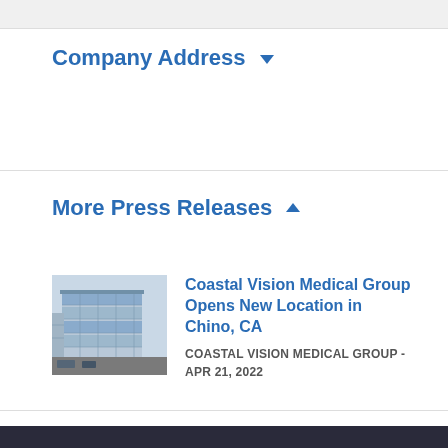Company Address
More Press Releases
[Figure (photo): Exterior photo of a modern multi-story glass office building]
Coastal Vision Medical Group Opens New Location in Chino, CA
COASTAL VISION MEDICAL GROUP - APR 21, 2022